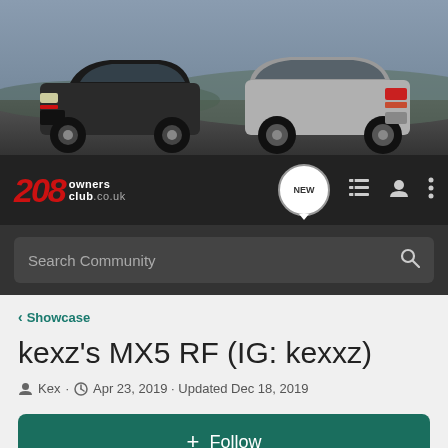[Figure (photo): Banner photo showing two Peugeot 208 cars on a road against a scenic background. Left car is dark/black colored facing left, right car is silver/grey facing right.]
[Figure (logo): 208 Owners Club logo - red italic 208 with white 'owners' and 'club.co.uk' text on dark background]
Search Community
< Showcase
kexz's MX5 RF (IG: kexxz)
Kex · Apr 23, 2019 · Updated Dec 18, 2019
+ Follow